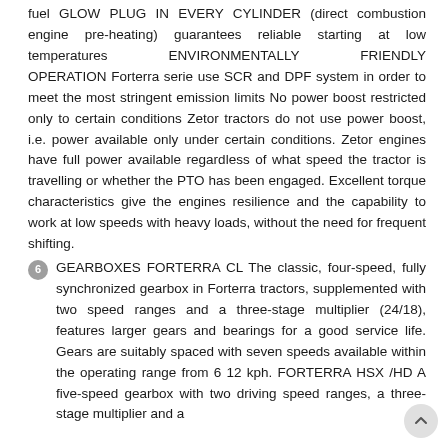fuel GLOW PLUG IN EVERY CYLINDER (direct combustion engine pre-heating) guarantees reliable starting at low temperatures ENVIRONMENTALLY FRIENDLY OPERATION Forterra serie use SCR and DPF system in order to meet the most stringent emission limits No power boost restricted only to certain conditions Zetor tractors do not use power boost, i.e. power available only under certain conditions. Zetor engines have full power available regardless of what speed the tractor is travelling or whether the PTO has been engaged. Excellent torque characteristics give the engines resilience and the capability to work at low speeds with heavy loads, without the need for frequent shifting.
6 GEARBOXES FORTERRA CL The classic, four-speed, fully synchronized gearbox in Forterra tractors, supplemented with two speed ranges and a three-stage multiplier (24/18), features larger gears and bearings for a good service life. Gears are suitably spaced with seven speeds available within the operating range from 6 12 kph. FORTERRA HSX /HD A five-speed gearbox with two driving speed ranges, a three-stage multiplier and a